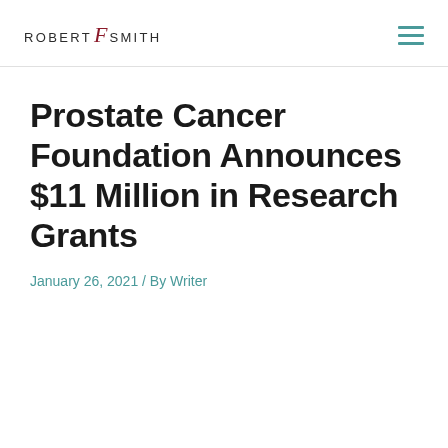ROBERT f SMITH
Prostate Cancer Foundation Announces $11 Million in Research Grants
January 26, 2021 / By Writer